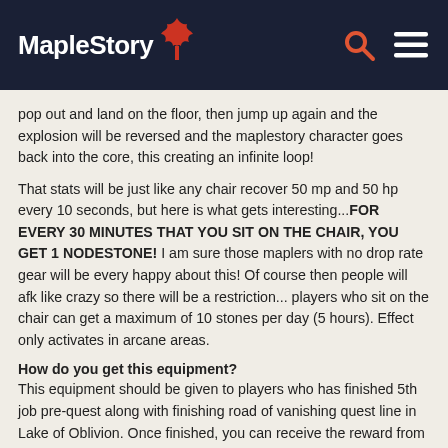MapleStory
pop out and land on the floor, then jump up again and the explosion will be reversed and the maplestory character goes back into the core, this creating an infinite loop!
That stats will be just like any chair recover 50 mp and 50 hp every 10 seconds, but here is what gets interesting...FOR EVERY 30 MINUTES THAT YOU SIT ON THE CHAIR, YOU GET 1 NODESTONE! I am sure those maplers with no drop rate gear will be every happy about this! Of course then people will afk like crazy so there will be a restriction... players who sit on the chair can get a maximum of 10 stones per day (5 hours). Effect only activates in arcane areas.
How do you get this equipment?
This equipment should be given to players who has finished 5th job pre-quest along with finishing road of vanishing quest line in Lake of Oblivion. Once finished, you can receive the reward from Rona located in Lake of Obilivion Namless Town.